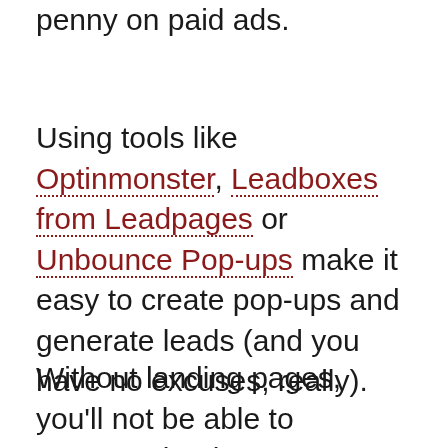penny on paid ads.
Using tools like Optinmonster, Leadboxes from Leadpages or Unbounce Pop-ups make it easy to create pop-ups and generate leads (and you have no excuses, really).
Without landing pages, you'll not be able to generate leads